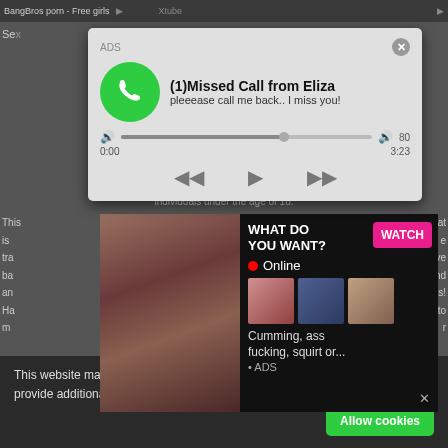BangBros porn - Free girls   Xtube
[Figure (screenshot): Audio player popup with phone icon showing '(1)Missed Call from Eliza' and subtitle 'pleeease call me back.. I miss you!' with progress bar showing 0:00 to 3:23 and playback controls]
individuals under the age of 18.
[Figure (screenshot): Adult advertisement popup with WHAT DO YOU WANT? headline, WATCH button, Online indicator, thumbnail images, and text 'Cumming, ass fucking, squirt or... • ADS']
This website makes use of cookies to enhance browsing experience and provide additional functionality. Privacy policy
Allow cookies